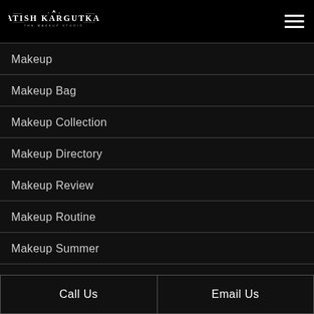[Figure (logo): Satish Kargutkar - The Makeup Studio logo in white on black background]
Makeup
Makeup Bag
Makeup Collection
Makeup Directory
Makeup Review
Makeup Routine
Makeup Summer
Call Us   Email Us